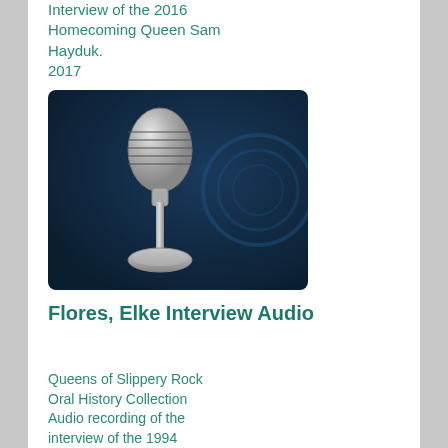Interview of the 2016 Homecoming Queen Sam Hayduk.
2017
[Figure (photo): Vintage-style silver microphone on a stand against a dark blue background, representing an audio recording.]
Flores, Elke Interview Audio
Queens of Slippery Rock Oral History Collection Audio recording of the interview of the 1994 Homecoming Queen Elke Flores.
2017